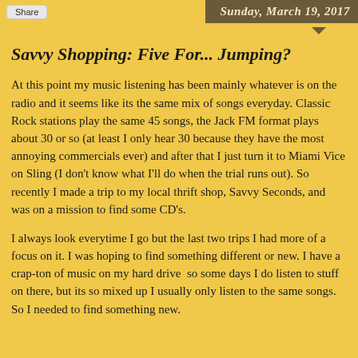Share
Sunday, March 19, 2017
Savvy Shopping: Five For... Jumping?
At this point my music listening has been mainly whatever is on the radio and it seems like its the same mix of songs everyday.  Classic Rock stations play the same 45 songs, the Jack FM format plays about 30 or so (at least I only hear 30 because they have the most annoying commercials ever) and after that I just turn it to Miami Vice on Sling (I don't know what I'll do when the trial runs out).  So recently I made a trip to my local thrift shop, Savvy Seconds, and was on a mission to find some CD's.
I always look everytime I go but the last two trips I had more of a focus on it.  I was hoping to find something different or new.  I have a crap-ton of music on my hard drive  so some days I do listen to stuff on there, but its so mixed up I usually only listen to the same songs.  So I needed to find something new.